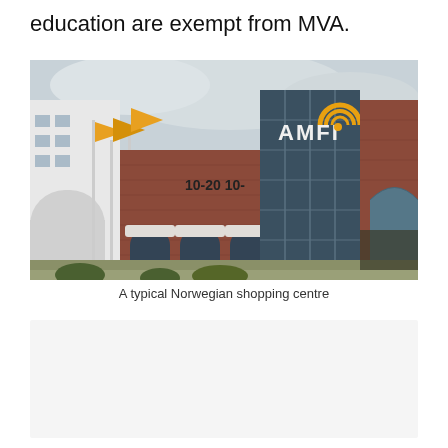education are exempt from MVA.
[Figure (photo): A Norwegian shopping centre building (AMFI) with brick facade, glass tower with AMFI logo and golden spiral, yellow flags in front, cloudy sky]
A typical Norwegian shopping centre